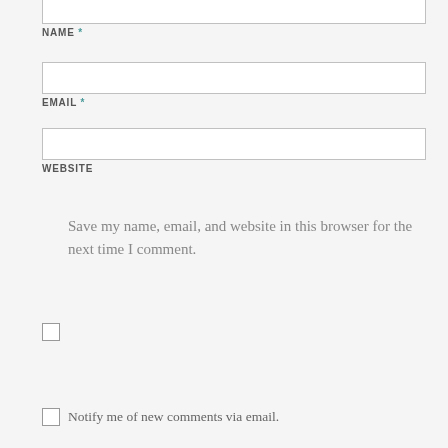NAME *
EMAIL *
WEBSITE
Save my name, email, and website in this browser for the next time I comment.
Post Comment
Notify me of new comments via email.